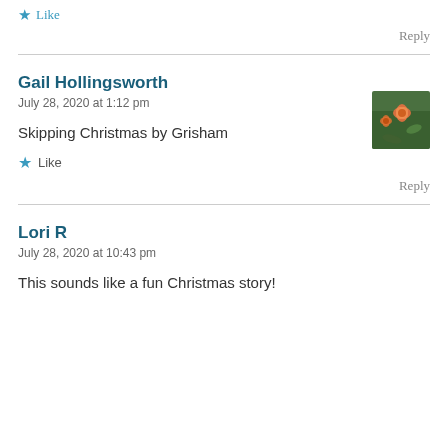Like
Reply
Gail Hollingsworth
July 28, 2020 at 1:12 pm
[Figure (photo): Small square avatar photo showing orange/pink flowers with green foliage background]
Skipping Christmas by Grisham
Like
Reply
Lori R
July 28, 2020 at 10:43 pm
This sounds like a fun Christmas story!